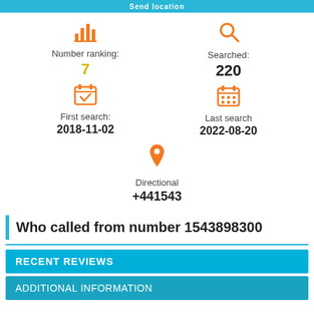Send location
Number ranking:
7
Searched:
220
First search:
2018-11-02
Last search
2022-08-20
Directional
+441543
Who called from number 1543898300
RECENT REVIEWS
ADDITIONAL INFORMATION